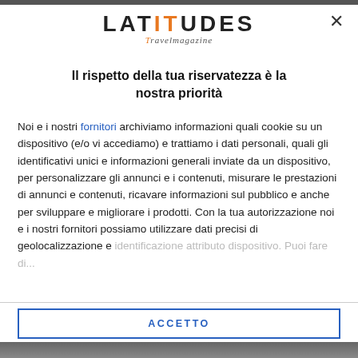[Figure (logo): LATITUDES Travel Magazine logo with orange letters I and T]
Il rispetto della tua riservatezza è la nostra priorità
Noi e i nostri fornitori archiviamo informazioni quali cookie su un dispositivo (e/o vi accediamo) e trattiamo i dati personali, quali gli identificativi unici e informazioni generali inviate da un dispositivo, per personalizzare gli annunci e i contenuti, misurare le prestazioni di annunci e contenuti, ricavare informazioni sul pubblico e anche per sviluppare e migliorare i prodotti. Con la tua autorizzazione noi e i nostri fornitori possiamo utilizzare dati precisi di geolocalizzazione e identificazione...
ACCETTO
PIÙ OPZIONI